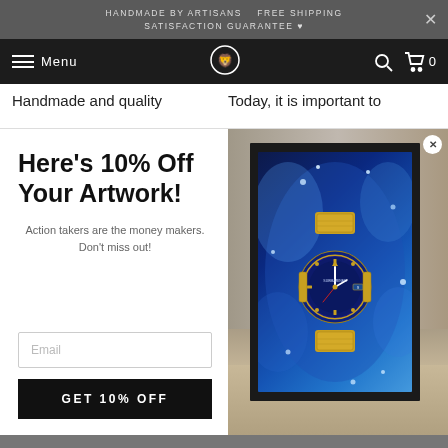HANDMADE BY ARTISANS   FREE SHIPPING   SATISFACTION GUARANTEE ♥
Menu
Handmade and quality
Today, it is important to
Here's 10% Off Your Artwork!
Action takers are the money makers. Don't miss out!
Email
GET 10% OFF
[Figure (photo): Framed artwork of a gold Rolex watch with blue dial submerged in water, displayed on a wall in a room]
Customer Reviews